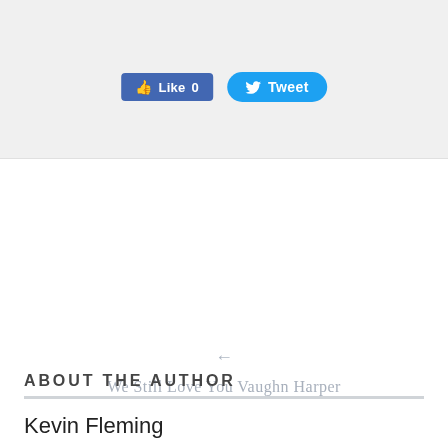[Figure (other): Social sharing buttons: Facebook Like (count 0) and Twitter Tweet button]
← We Still Love You Vaughn Harper
→ The National Radio Hall of Fame Announces 2015 Presenters
ABOUT THE AUTHOR
Kevin Fleming